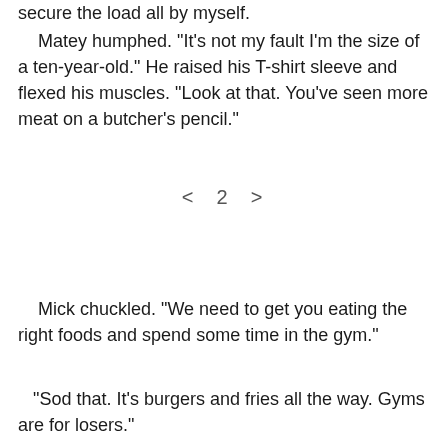secure the load all by myself.
Matey humphed. "It's not my fault I'm the size of a ten-year-old." He raised his T-shirt sleeve and flexed his muscles. "Look at that. You've seen more meat on a butcher's pencil."
< 2 >
Mick chuckled. "We need to get you eating the right foods and spend some time in the gym."
"Sod that. It's burgers and fries all the way. Gyms are for losers."